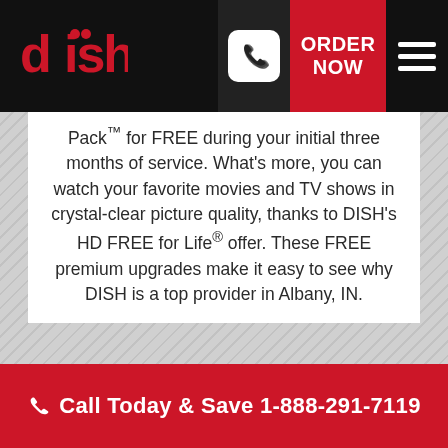DISH — ORDER NOW — Call Today & Save 1-888-291-7119
Pack™ for FREE during your initial three months of service. What's more, you can watch your favorite movies and TV shows in crystal-clear picture quality, thanks to DISH's HD FREE for Life® offer. These FREE premium upgrades make it easy to see why DISH is a top provider in Albany, IN.
Call Today & Save 1-888-291-7119